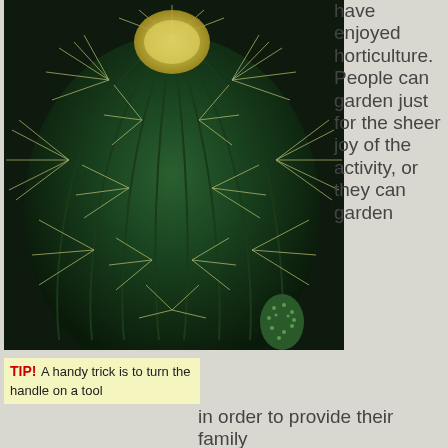[Figure (photo): Close-up photograph of a large barrel cactus with long yellowish-white spines radiating outward, a fuzzy yellow-white crown at the top center, and a small spotted cactus visible at the lower right.]
have enjoyed horticulture. People can garden just for the sheer joy of the activity, or they can garden
TIP! A handy trick is to turn the handle on a tool
in order to provide their family